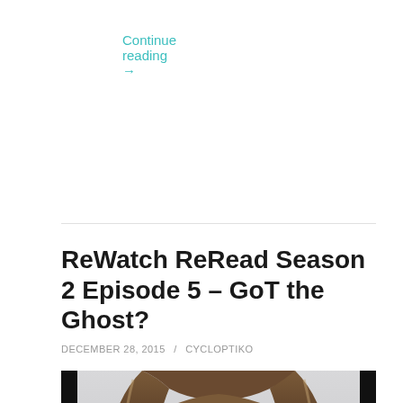Continue reading →
ReWatch ReRead Season 2 Episode 5 – GoT the Ghost?
DECEMBER 28, 2015 / CYCLOPTIKO
[Figure (photo): A man with long brown and blonde hair looking downward, photographed outdoors against a pale grey sky. Dark borders on left and right edges of image.]